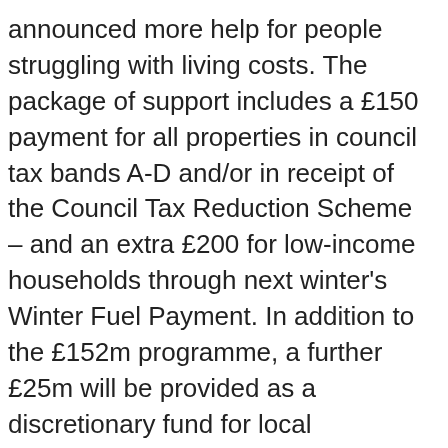announced more help for people struggling with living costs. The package of support includes a £150 payment for all properties in council tax bands A-D and/or in receipt of the Council Tax Reduction Scheme – and an extra £200 for low-income households through next winter's Winter Fuel Payment. In addition to the £152m programme, a further £25m will be provided as a discretionary fund for local authorities, allowing councils to use their local knowledge to help households who may be struggling.

It far exceeds what the UK Government is offering in England. But more can and should be done. Taking £20 every week away from the poorest families is cruel –